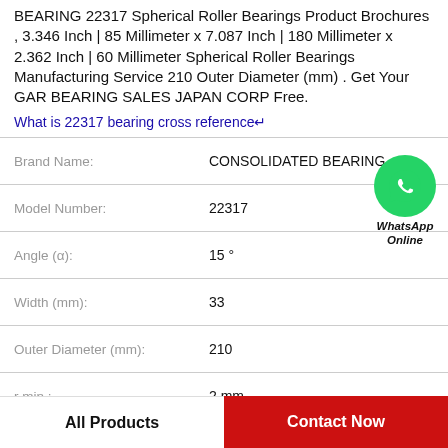BEARING 22317 Spherical Roller Bearings Product Brochures , 3.346 Inch | 85 Millimeter x 7.087 Inch | 180 Millimeter x 2.362 Inch | 60 Millimeter Spherical Roller Bearings Manufacturing Service 210 Outer Diameter (mm) . Get Your GAR BEARING SALES JAPAN CORP Free.
What is 22317 bearing cross reference↵
| Property | Value |
| --- | --- |
| Brand Name: | CONSOLIDATED BEARING |
| Model Number: | 22317 |
| Angle (α): | 15 ° |
| Width (mm): | 33 |
| Outer Diameter (mm): | 210 |
| r min.: | 2 mm |
[Figure (logo): WhatsApp Online green circle icon with phone handset, text below: WhatsApp Online]
All Products
Contact Now